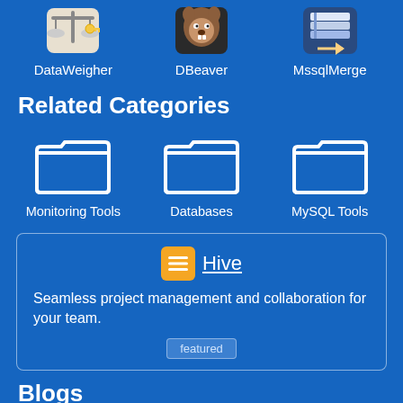[Figure (screenshot): Three app icons in a row: DataWeigher (scales with key icon), DBeaver (beaver icon), MssqlMerge (database/books icon), with their names below]
Related Categories
[Figure (screenshot): Three folder icons representing categories: Monitoring Tools, Databases, MySQL Tools]
Hive
Seamless project management and collaboration for your team.
featured
Blogs
News from the blogs of product alternatives mentioned above